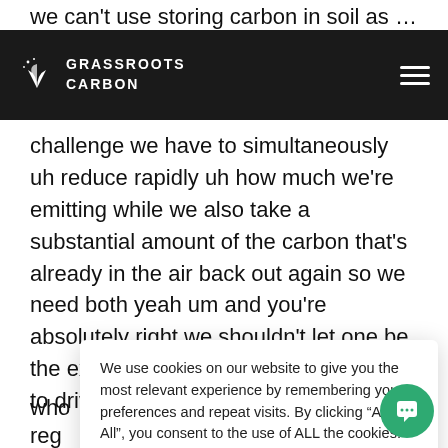we can't use storing carbon in soil as an excuse to
[Figure (logo): Grassroots Carbon logo — white plant/leaf icon with stars, white text GRASSROOTS CARBON on dark background, hamburger menu icon on right]
challenge we have to simultaneously uh reduce rapidly uh how much we're emitting while we also take a substantial amount of the carbon that's already in the air back out again so we need both yeah um and you're absolutely right we shouldn't let one be the excuse for the other but we do need to driv[e] ... wh[ere] ... reg[ard] ... tha[t] ... dim[ension] ... equ[ally] ... othe[r] ...eel goo[d] ...e will ... ma[ke]
We use cookies on our website to give you the most relevant experience by remembering your preferences and repeat visits. By clicking “Accept All”, you consent to the use of ALL the cookies. However, you may visit "Cookie Settings" to provide a controlled consent.